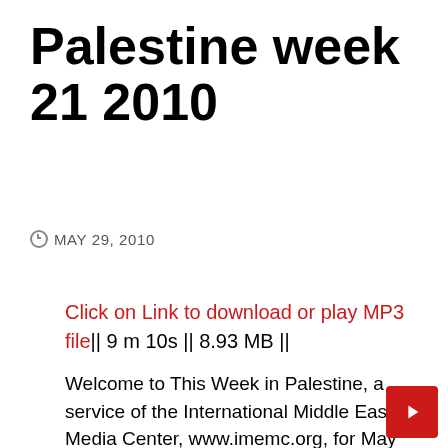Palestine week 21 2010
MAY 29, 2010
Click on Link to download or play MP3 file|| 9 m 10s || 8.93 MB ||
Welcome to This Week in Palestine, a service of the International Middle East Media Center, www.imemc.org, for May 22nd to 28th, 2010
Nonviolent activities continue in the West Bank as the Free Gaza boats or on the way to Gaza